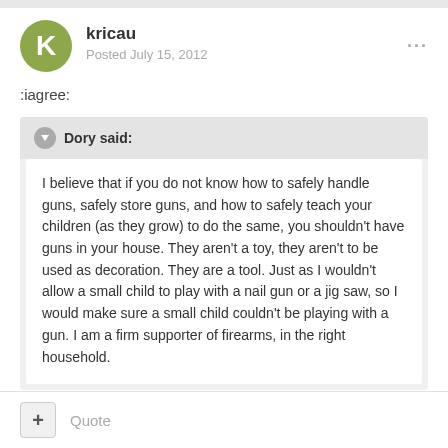kricau
Posted July 15, 2012
:iagree:
Dory said:
I believe that if you do not know how to safely handle guns, safely store guns, and how to safely teach your children (as they grow) to do the same, you shouldn't have guns in your house. They aren't a toy, they aren't to be used as decoration. They are a tool. Just as I wouldn't allow a small child to play with a nail gun or a jig saw, so I would make sure a small child couldn't be playing with a gun. I am a firm supporter of firearms, in the right household.
Quote